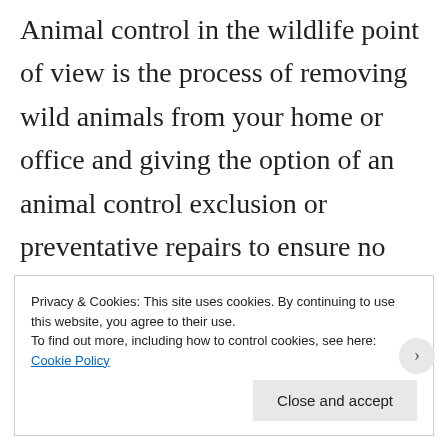Animal control in the wildlife point of view is the process of removing wild animals from your home or office and giving the option of an animal control exclusion or preventative repairs to ensure no future conflicts happen.
Privacy & Cookies: This site uses cookies. By continuing to use this website, you agree to their use. To find out more, including how to control cookies, see here: Cookie Policy